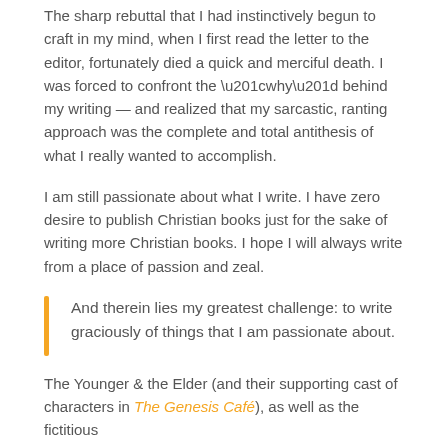The sharp rebuttal that I had instinctively begun to craft in my mind, when I first read the letter to the editor, fortunately died a quick and merciful death. I was forced to confront the “why” behind my writing — and realized that my sarcastic, ranting approach was the complete and total antithesis of what I really wanted to accomplish.
I am still passionate about what I write. I have zero desire to publish Christian books just for the sake of writing more Christian books. I hope I will always write from a place of passion and zeal.
And therein lies my greatest challenge: to write graciously of things that I am passionate about.
The Younger & the Elder (and their supporting cast of characters in The Genesis Café), as well as the fictitious